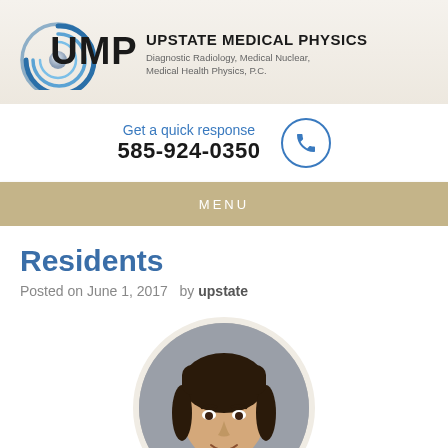[Figure (logo): UMP logo with stylized circular icon and text 'UPSTATE MEDICAL PHYSICS, Diagnostic Radiology, Medical Nuclear, Medical Health Physics, P.C.']
Get a quick response
585-924-0350
MENU
Residents
Posted on June 1, 2017   by upstate
[Figure (photo): Circular headshot photo of a young man with dark hair, smiling, against a gray background]